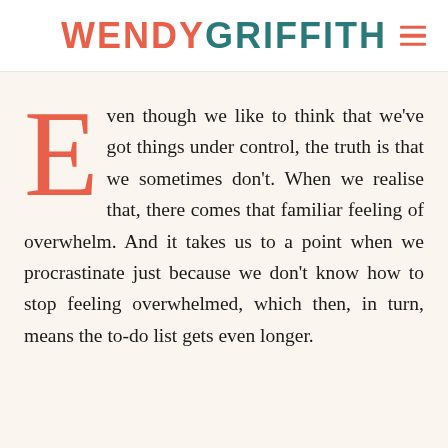WENDY GRIFFITH
Even though we like to think that we’ve got things under control, the truth is that we sometimes don’t. When we realise that, there comes that familiar feeling of overwhelm. And it takes us to a point when we procrastinate just because we don’t know how to stop feeling overwhelmed, which then, in turn, means the to-do list gets even longer.